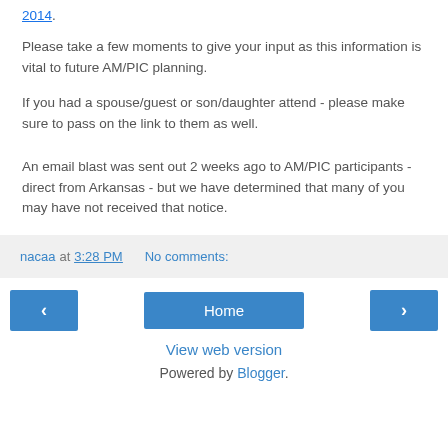2014.
Please take a few moments to give your input as this information is vital to future AM/PIC planning.
If you had a spouse/guest or son/daughter attend - please make sure to pass on the link to them as well.
An email blast was sent out 2 weeks ago to AM/PIC participants - direct from Arkansas - but we have determined that many of you may have not received that notice.
nacaa at 3:28 PM   No comments:
< Home >
View web version
Powered by Blogger.